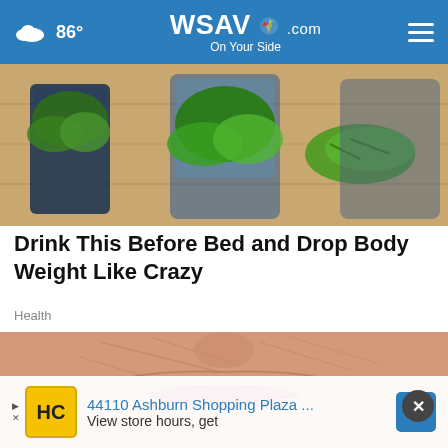86° WSAV.com On Your Side
[Figure (photo): Close-up photo of green vegetables (cucumbers, lettuce leaves) in glass containers on a wooden surface]
Drink This Before Bed and Drop Body Weight Like Crazy
Health
[Figure (photo): Close-up photo of an elderly woman's face focusing on her wrinkled skin and red lipstick]
44110 Ashburn Shopping Plaza ... View store hours, get